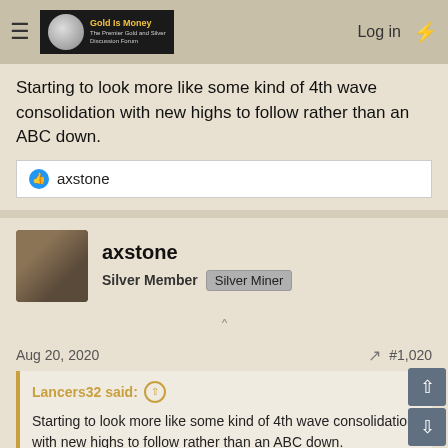Gold Is Money - The Premier Gold and Silver Discussion Forum
Starting to look more like some kind of 4th wave consolidation with new highs to follow rather than an ABC down.
👍 axstone
axstone
Silver Member  Silver Miner
Aug 20, 2020   #1,020
Lancers32 said: ↑
Starting to look more like some kind of 4th wave consolidation with new highs to follow rather than an ABC down.
CORRECT: SILVER IS BEING DIFFICULT FOR THE CHART PAINTERS ... UH OH
[Figure (illustration): Cartoon character at bottom left, appears to be a person looking confused or worried]